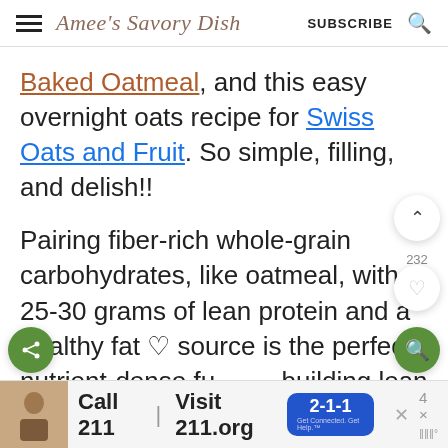Amee's Savory Dish — SUBSCRIBE
Baked Oatmeal, and this easy overnight oats recipe for Swiss Oats and Fruit. So simple, filling, and delish!!
Pairing fiber-rich whole-grain carbohydrates, like oatmeal, with 25-30 grams of lean protein and a healthy fat source is the perfect, nutrient-dense fuel for building lean muscle mass. You'll be satiated for hours after this hearty
[Figure (screenshot): Advertisement banner: Call 211 | Visit 211.org with 2-1-1 badge and child photo]